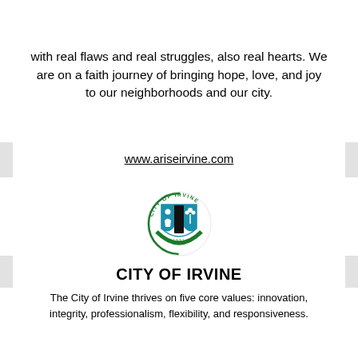with real flaws and real struggles, also real hearts. We are on a faith journey of bringing hope, love, and joy to our neighborhoods and our city.
www.ariseirvine.com
[Figure (logo): City of Irvine seal/logo — circular badge with teal and black with people and trees, green arc at bottom, text 'CITY OF IRVINE' around top]
CITY OF IRVINE
The City of Irvine thrives on five core values: innovation, integrity, professionalism, flexibility, and responsiveness.
www.cityofirvine.org